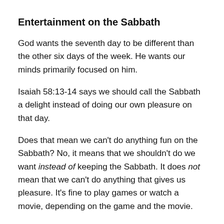Entertainment on the Sabbath
God wants the seventh day to be different than the other six days of the week. He wants our minds primarily focused on him.
Isaiah 58:13-14 says we should call the Sabbath a delight instead of doing our own pleasure on that day.
Does that mean we can't do anything fun on the Sabbath? No, it means that we shouldn't do we want instead of keeping the Sabbath. It does not mean that we can't do anything that gives us pleasure. It's fine to play games or watch a movie, depending on the game and the movie.
Watching television is potentially a more complicated matter. Modern technologies like digital programming